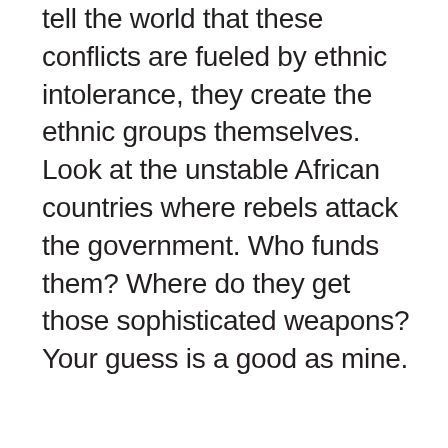tell the world that these conflicts are fueled by ethnic intolerance, they create the ethnic groups themselves. Look at the unstable African countries where rebels attack the government. Who funds them? Where do they get those sophisticated weapons? Your guess is a good as mine.